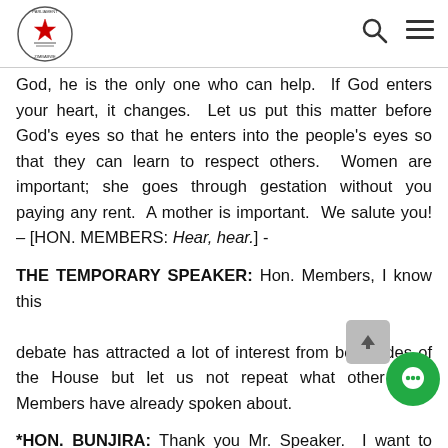Parliament of Zimbabwe header with logo, search icon, and menu icon
God, he is the only one who can help.  If God enters your heart, it changes.  Let us put this matter before God's eyes so that he enters into the people's eyes so that they can learn to respect others.  Women are important; she goes through gestation without you paying any rent.  A mother is important.  We salute you! – [HON. MEMBERS: Hear, hear.] -
THE TEMPORARY SPEAKER: Hon. Members, I know this debate has attracted a lot of interest from both sides of the House but let us not repeat what other Hon. Members have already spoken about.
*HON. BUNJIRA: Thank you Mr. Speaker.  I want to thank